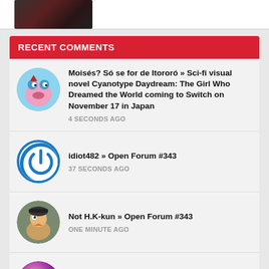[Figure (photo): Partial view of a dark-themed thumbnail image at the top of the page]
RECENT COMMENTS
Moisés? Só se for de Itororó » Sci-fi visual novel Cyanotype Daydream: The Girl Who Dreamed the World coming to Switch on November 17 in Japan
4 SECONDS AGO
idiot482 » Open Forum #343
37 SECONDS AGO
Not H.K-kun » Open Forum #343
ONE MINUTE AGO
Sprints » Open Forum #343
2 MINUTES AGO